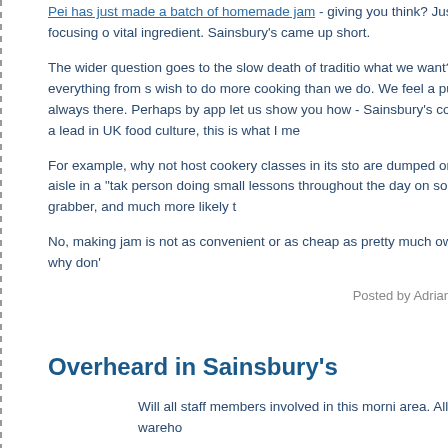Pei has just made a batch of homemade jam - giving you think? Justin King says Sainsbury's is focusing o vital ingredient. Sainsbury's came up short.
The wider question goes to the slow death of traditio what we want? I don't always make everything from s wish to do more cooking than we do. We feel a pull t lure of convenience is always there. Perhaps by app let us show you how - Sainsbury's could really awake could take a lead in UK food culture, this is what I me
For example, why not host cookery classes in its sto are dumped on a rack at the end of the aisle in a "tak person doing small lessons throughout the day on so more of an attention grabber, and much more likely t
No, making jam is not as convenient or as cheap as pretty much own convenient and cheap, so why don'
Posted by Adrian Trenholm on August 20, 20
Overheard in Sainsbury's
Will all staff members involved in this morni area. All members for the huddle to wareho
Do any staff members want to share what happens i with a shiny new name?
By the way, I was not the only customer to laugh out come over the tannoy.